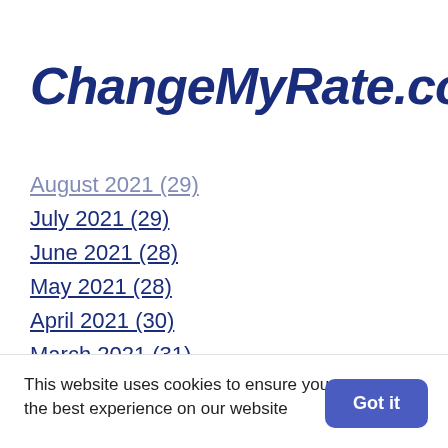[Figure (logo): ChangeMyRate.com logo in dark navy bold italic font with registered trademark symbol]
August 2021 (29)
July 2021 (29)
June 2021 (28)
May 2021 (28)
April 2021 (30)
March 2021 (31)
February 2021 (28)
January 2021 (31)
November 2020 (30)
October 2020 (31)
This website uses cookies to ensure you get the best experience on our website